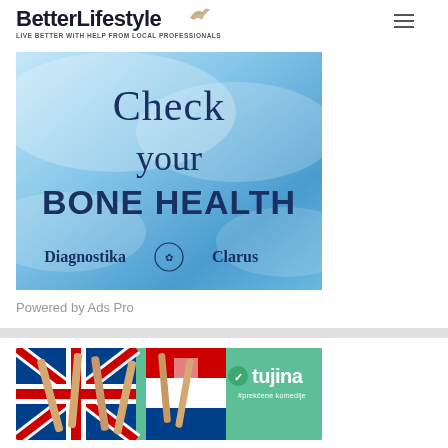BetterLifestyle — LIVE BETTER WITH HELP FROM LOCAL PROFESSIONALS
[Figure (illustration): Advertisement banner with blue gradient background. Large text reads 'Check your BONE HEALTH' with 'Diagnostika Clarus' logo at bottom with laurel wreath emblem.]
Powered by Ads Pro
[Figure (illustration): Advertisement banner with green background showing flags (UK, Croatia/other) and 'Stujina' branding text with subtitle.]